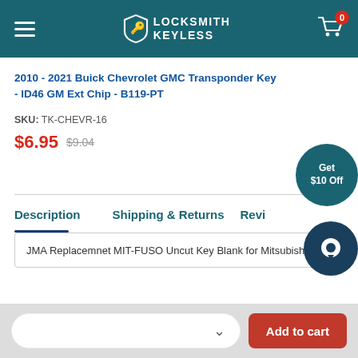Locksmith Keyless — navigation header with cart (0 items)
2010 - 2021 Buick Chevrolet GMC Transponder Key - ID46 GM Ext Chip - B119-PT
SKU: TK-CHEVR-16
$6.95  $9.04
Get $10 Off
Description  Shipping & Returns  Reviews
JMA Replacemnet MIT-FUSO Uncut Key Blank for Mitsubishi
Add to cart